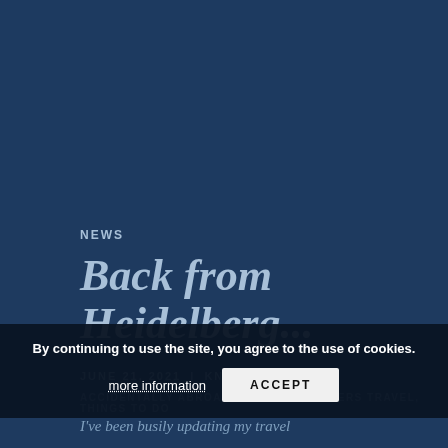[Figure (photo): Dark navy blue background area representing a header image placeholder]
NEWS
Back from Heidelberg...
JUNE 21, 2021 | KNOTTY |
ACCIDENTALLY ABROAD, BIRTHDAY, SISTERS TRAVEL, THINGS TO DO
I've been busily updating my travel
By continuing to use the site, you agree to the use of cookies. more information  ACCEPT